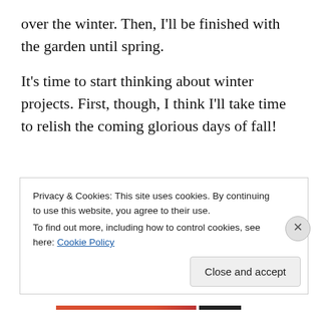over the winter. Then, I'll be finished with the garden until spring.
It's time to start thinking about winter projects. First, though, I think I'll take time to relish the coming glorious days of fall!
Privacy & Cookies: This site uses cookies. By continuing to use this website, you agree to their use.
To find out more, including how to control cookies, see here: Cookie Policy